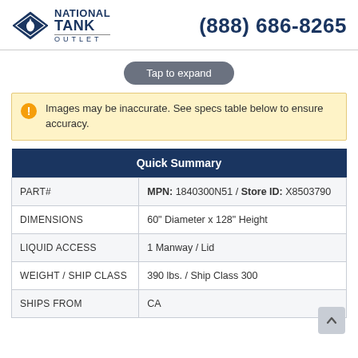NATIONAL TANK OUTLET | (888) 686-8265
Tap to expand
Images may be inaccurate. See specs table below to ensure accuracy.
| Quick Summary |
| --- |
| PART# | MPN: 1840300N51 / Store ID: X8503790 |
| DIMENSIONS | 60" Diameter x 128" Height |
| LIQUID ACCESS | 1 Manway / Lid |
| WEIGHT / SHIP CLASS | 390 lbs. / Ship Class 300 |
| SHIPS FROM | CA |